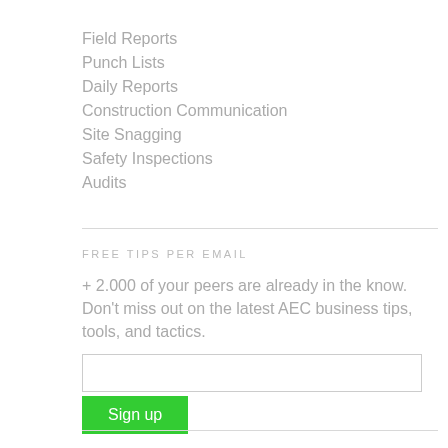Field Reports
Punch Lists
Daily Reports
Construction Communication
Site Snagging
Safety Inspections
Audits
FREE TIPS PER EMAIL
+ 2.000 of your peers are already in the know. Don't miss out on the latest AEC business tips, tools, and tactics.
Sign up